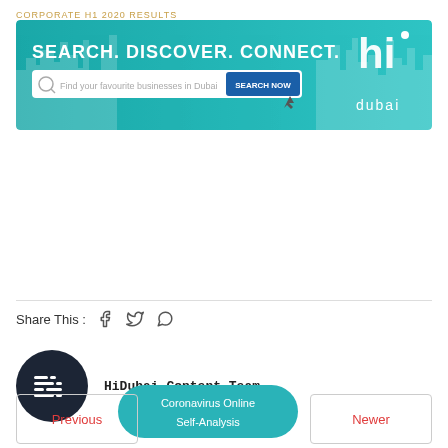CORPORATE H1 2020 Results
[Figure (infographic): HiDubai banner advertisement with teal/turquoise background, city skyline silhouette, text 'SEARCH. DISCOVER. CONNECT.', search bar with placeholder 'Find your favourite businesses in Dubai', blue 'SEARCH NOW' button, and 'hi dubai' logo on the right]
Share This :
HiDubai Content Team
Coronavirus Online Self-Analysis
Previous
Newer